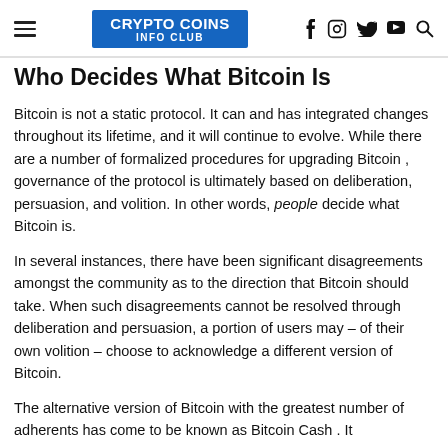CRYPTO COINS INFO CLUB
Who Decides What Bitcoin Is
Bitcoin is not a static protocol. It can and has integrated changes throughout its lifetime, and it will continue to evolve. While there are a number of formalized procedures for upgrading Bitcoin , governance of the protocol is ultimately based on deliberation, persuasion, and volition. In other words, people decide what Bitcoin is.
In several instances, there have been significant disagreements amongst the community as to the direction that Bitcoin should take. When such disagreements cannot be resolved through deliberation and persuasion, a portion of users may – of their own volition – choose to acknowledge a different version of Bitcoin.
The alternative version of Bitcoin with the greatest number of adherents has come to be known as Bitcoin Cash . It